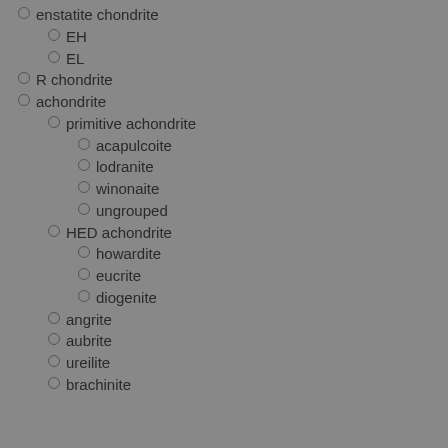enstatite chondrite
EH
EL
R chondrite
achondrite
primitive achondrite
acapulcoite
lodranite
winonaite
ungrouped
HED achondrite
howardite
eucrite
diogenite
angrite
aubrite
ureilite
brachinite